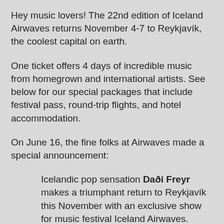Hey music lovers! The 22nd edition of Iceland Airwaves returns November 4-7 to Reykjavík, the coolest capital on earth.
One ticket offers 4 days of incredible music from homegrown and international artists. See below for our special packages that include festival pass, round-trip flights, and hotel accommodation.
On June 16, the fine folks at Airwaves made a special announcement:
Icelandic pop sensation Daði Freyr makes a triumphant return to Reykjavík this November with an exclusive show for music festival Iceland Airwaves. Since performing at last year's edition of Airwaves,